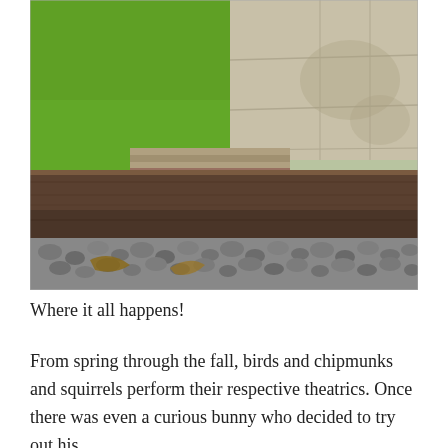[Figure (photo): Outdoor photo showing a wooden raised garden bed or retaining structure with gravel/rocks at the bottom, green grass lawn in the upper left, and a stone/concrete patio surface in the upper right. Shadows from a tree are visible on the patio.]
Where it all happens!
From spring through the fall, birds and chipmunks and squirrels perform their respective theatrics. Once there was even a curious bunny who decided to try out his